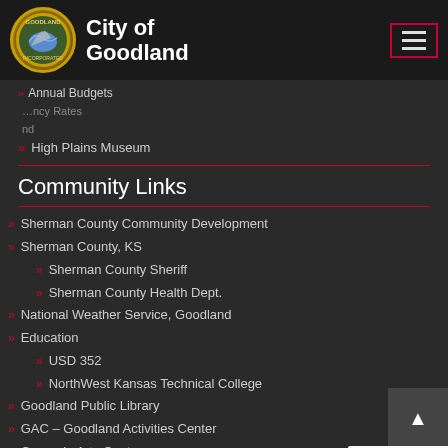[Figure (logo): City of Goodland logo with circular badge and hamburger menu button]
Annual Budgets
High Plains Museum
Community Links
Sherman County Community Development
Sherman County, KS
Sherman County Sheriff
Sherman County Health Dept.
National Weather Service, Goodland
Education
USD 352
NorthWest Kansas Technical College
Goodland Public Library
GAC – Goodland Activities Center
Carnegie Arts Center
Goodland Regional Medical Center